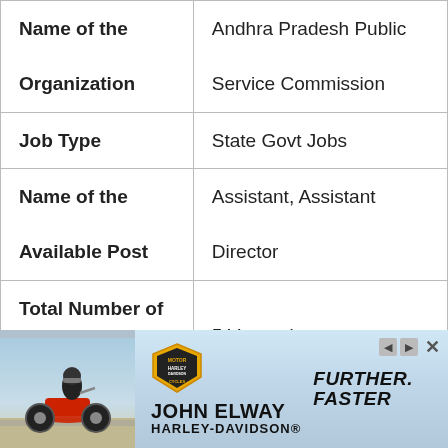| Field | Value |
| --- | --- |
| Name of the Organization | Andhra Pradesh Public Service Commission |
| Job Type | State Govt Jobs |
| Name of the Available Post | Assistant, Assistant Director |
| Total Number of Posts | 5 Vacancies |
[Figure (infographic): Advertisement banner for John Elway Harley-Davidson featuring a motorcycle and rider on the left, Harley-Davidson shield logo in the center, brand name text, and 'Further. Faster.' tagline on the right. Has close button and navigation arrows.]